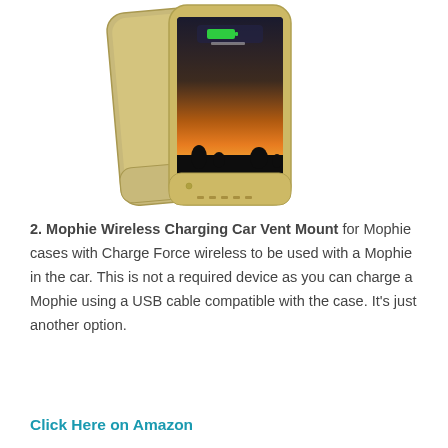[Figure (photo): A gold/champagne colored Mophie iPhone battery case shown from the back and front, displaying a charging icon on the screen with a sunset wallpaper.]
2. Mophie Wireless Charging Car Vent Mount for Mophie cases with Charge Force wireless to be used with a Mophie in the car. This is not a required device as you can charge a Mophie using a USB cable compatible with the case. It's just another option.
Click Here on Amazon